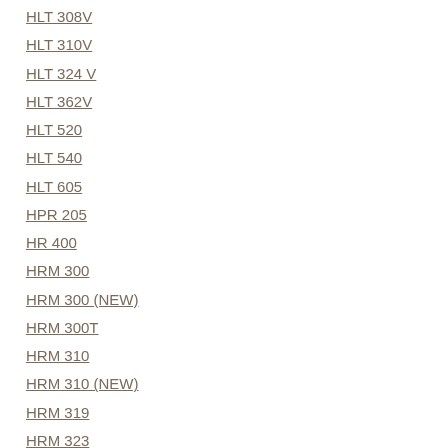HLT 308V
HLT 310V
HLT 324 V
HLT 362V
HLT 520
HLT 540
HLT 605
HPR 205
HR 400
HRM 300
HRM 300 (NEW)
HRM 300T
HRM 310
HRM 310 (NEW)
HRM 319
HRM 323
HRM 324
HRM 326